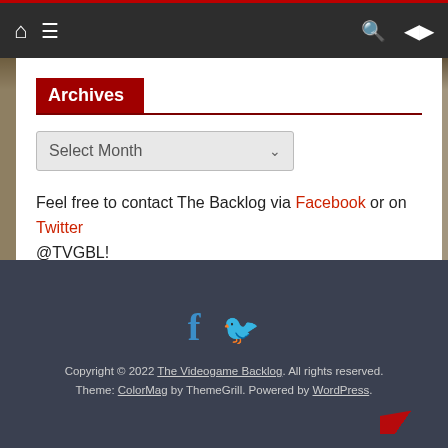Navigation bar with home icon, menu icon, search icon, shuffle icon
Archives
Select Month
Feel free to contact The Backlog via Facebook or on Twitter @TVGBL!
Copyright © 2022 The Videogame Backlog. All rights reserved. Theme: ColorMag by ThemeGrill. Powered by WordPress.